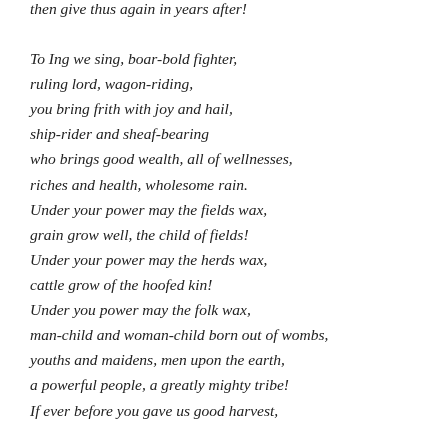then give thus again in years after!

To Ing we sing, boar-bold fighter,
ruling lord, wagon-riding,
you bring frith with joy and hail,
ship-rider and sheaf-bearing
who brings good wealth, all of wellnesses,
riches and health, wholesome rain.
Under your power may the fields wax,
grain grow well, the child of fields!
Under your power may the herds wax,
cattle grow of the hoofed kin!
Under you power may the folk wax,
man-child and woman-child born out of wombs,
youths and maidens, men upon the earth,
a powerful people, a greatly mighty tribe!
If ever before you gave us good harvest